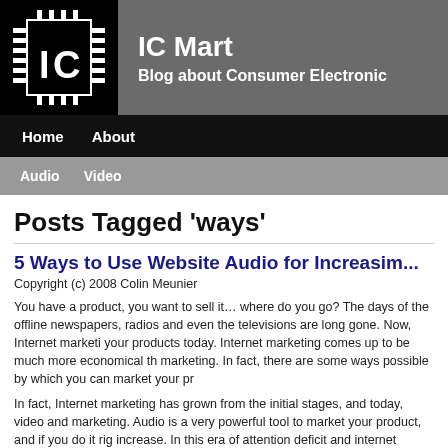[Figure (logo): IC Mart logo: black square with IC chip graphic, white IC letters on black background with circuit board pin marks]
IC Mart
Blog about Consumer Electronic
Home   About
Audio   Video
Posts Tagged ‘ways’
5 Ways to Use Website Audio for Increasing...
Copyright (c) 2008 Colin Meunier
You have a product, you want to sell it… where do you go? The days of the offline newspapers, radios and even the televisions are long gone. Now, Internet marketing your products today. Internet marketing comes up to be much more economical th marketing. In fact, there are some ways possible by which you can market your pr
In fact, Internet marketing has grown from the initial stages, and today, video and marketing. Audio is a very powerful tool to market your product, and if you do it rig increase. In this era of attention deficit and internet skimmers, audio rules over tex five ways to use website audio for increasing sales.
1. Use the power of the voice.